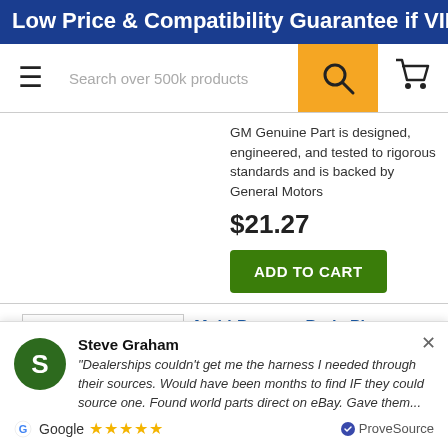Low Price & Compatibility Guarantee if VIN is provided
[Figure (screenshot): Navigation bar with hamburger menu, search box reading 'Search over 500k products', orange search button with magnifying glass icon, and shopping cart icon]
GM Genuine Part is designed, engineered, and tested to rigorous standards and is backed by General Motors
$21.27
ADD TO CART
4
[Figure (illustration): Technical diagram of a circular Multi-Purpose Body Plug / Hole Plug, shown from above as concentric circles]
Multi-Purpose Body Plug
94535659
Hole Plug, Left
23mm, Upper, Sedan, This GM
Steve Graham
"Dealerships couldn't get me the harness I needed through their sources. Would have been months to find IF they could source one. Found world parts direct on eBay. Gave them...
Google ★★★★★ ProveSource